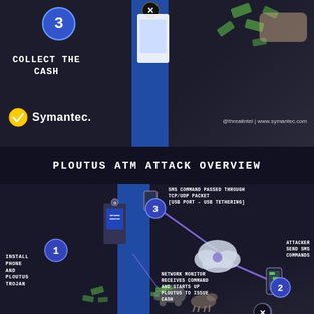[Figure (infographic): Top half of Symantec Ploutus ATM Attack Overview infographic. Shows step 3 'Collect the Cash' with a blue vertical column, money flying from ATM, hand holding smartphone, and Symantec logo with @threatintel | www.symantec.com.]
PLOUTUS ATM ATTACK OVERVIEW
[Figure (infographic): Bottom diagram showing 4 steps of Ploutus ATM attack: 1) Install phone and Ploutus Trojan on ATM, 2) Attacker send SMS commands from smartphone, 3) SMS command passed through TCP/UDP packet [USB port - USB tethering] via cloud, 4) Network monitor receives command and starts up Ploutus to issue cash. Includes ATM with money in shopping cart, cloud icon, smartphone. Numbered circles mark each step.]